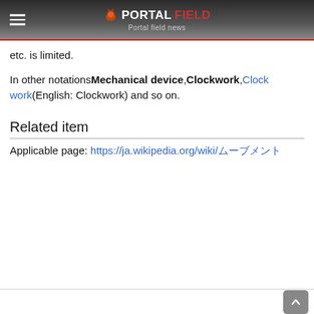PORTALFIELD Portal field news
etc. is limited.
In other notations Mechanical device,Clockwork,Clock work(English: Clockwork) and so on.
Related item
Applicable page: https://ja.wikipedia.org/wiki/ムーブメント
↑